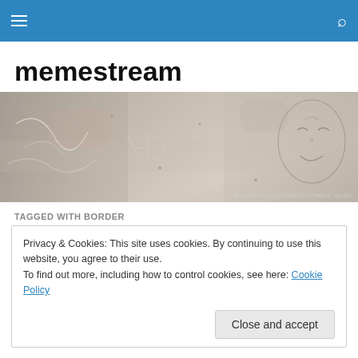memestream — navigation bar with hamburger menu and search icon
memestream
[Figure (photo): Wide horizontal banner image showing an aged, textured stone or plaster wall with faint scratched markings and a ghostly face visible on the right side. Caption reads: all content copyright 2004-2011 Mark B. Jacobs]
TAGGED WITH BORDER
Privacy & Cookies: This site uses cookies. By continuing to use this website, you agree to their use.
To find out more, including how to control cookies, see here: Cookie Policy
Close and accept